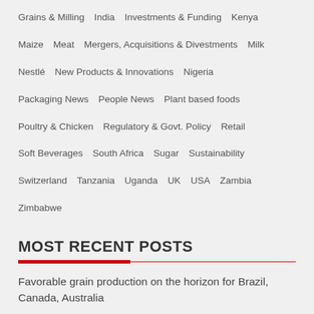Grains & Milling
India
Investments & Funding
Kenya
Maize
Meat
Mergers, Acquisitions & Divestments
Milk
Nestlé
New Products & Innovations
Nigeria
Packaging News
People News
Plant based foods
Poultry & Chicken
Regulatory & Govt. Policy
Retail
Soft Beverages
South Africa
Sugar
Sustainability
Switzerland
Tanzania
Uganda
UK
USA
Zambia
Zimbabwe
MOST RECENT POSTS
Favorable grain production on the horizon for Brazil, Canada, Australia